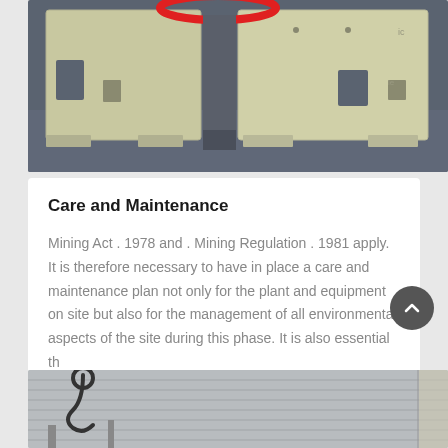[Figure (photo): Industrial mining crusher machine, cream/beige colored metal housing with rectangular cutouts, photographed on grey floor with red O-ring/seal visible at top]
Care and Maintenance
Mining Act . 1978 and . Mining Regulation . 1981 apply. It is therefore necessary to have in place a care and maintenance plan not only for the plant and equipment on site but also for the management of all environmental aspects of the site during this phase. It is also essential th
GET PRICE
[Figure (photo): Partial view of industrial warehouse or storage facility, corrugated metal walls visible, hook or chain element on left side]